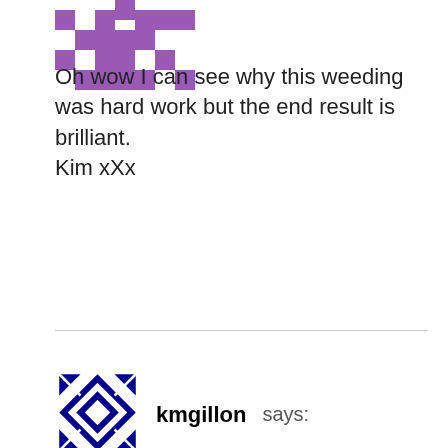[Figure (logo): Purple pixel/cross-stitch style avatar icon partially cut off at top-left]
Oh wow I can see why this weeding was hard work but the end result is brilliant.
Kim xXx
[Figure (logo): Blue geometric/snowflake style avatar icon for kmgillon]
kmgillon says:
Cu[te] [treat] bags! I love the cookie bones! Thanks for sharing!
[Figure (logo): Pink diamond/cross-stitch style avatar icon for finecrafter]
finecrafter says: